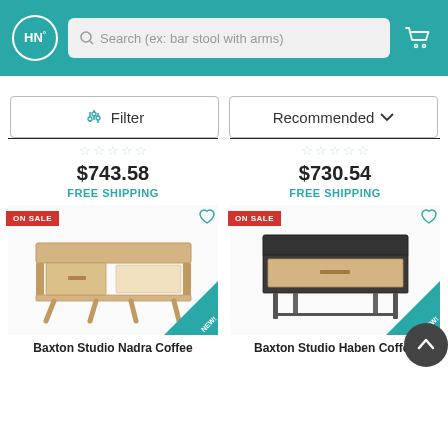HN° | Search (ex: bar stool with arms)
Filter | Recommended
★★★★★ $743.58 FREE SHIPPING
★★★★★ $730.54 FREE SHIPPING
[Figure (photo): Baxton Studio Nadra Coffee Table - a light wood mid-century modern coffee table with one drawer and open shelf, on angled legs. ON SALE badge, heart icon, NEW! corner badge.]
[Figure (photo): Baxton Studio Haben Coffee Table - a dark/black square coffee table with a light wood drawer front, on metal legs. ON SALE badge, heart icon, NEW! corner badge, back-to-top button overlay.]
Baxton Studio Nadra Coffee
Baxton Studio Haben Coffee